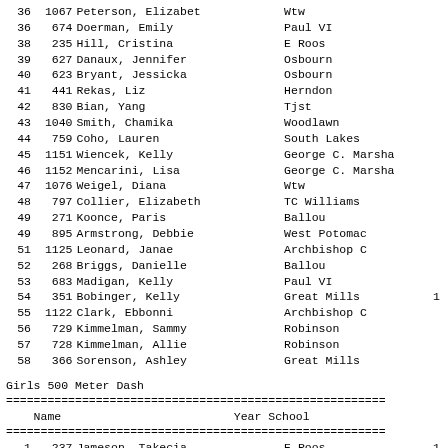| Rank | Bib | Name | Year | School | Score |
| --- | --- | --- | --- | --- | --- |
| 36 | 1067 | Peterson, Elizabet |  | Wtw |  |
| 36 | 674 | Doerman, Emily |  | Paul VI |  |
| 38 | 235 | Hill, Cristina |  | E Roos |  |
| 39 | 627 | Danaux, Jennifer |  | Osbourn |  |
| 40 | 623 | Bryant, Jessicka |  | Osbourn |  |
| 41 | 441 | Rekas, Liz |  | Herndon |  |
| 42 | 830 | Bian, Yang |  | Tjst |  |
| 43 | 1040 | Smith, Chamika |  | Woodlawn |  |
| 44 | 759 | Coho, Lauren |  | South Lakes |  |
| 45 | 1151 | Wiencek, Kelly |  | George C. Marsha |  |
| 46 | 1152 | Mencarini, Lisa |  | George C. Marsha |  |
| 47 | 1076 | Weigel, Diana |  | Wtw |  |
| 48 | 797 | Collier, Elizabeth |  | TC Williams |  |
| 49 | 271 | Koonce, Paris |  | Ballou |  |
| 49 | 895 | Armstrong, Debbie |  | West Potomac |  |
| 51 | 1125 | Leonard, Janae |  | Archbishop C |  |
| 52 | 268 | Briggs, Danielle |  | Ballou |  |
| 53 | 683 | Madigan, Kelly |  | Paul VI |  |
| 54 | 351 | Bobinger, Kelly |  | Great Mills | 1 |
| 55 | 1122 | Clark, Ebbonni |  | Archbishop C |  |
| 56 | 729 | Kimmelman, Sammy |  | Robinson |  |
| 57 | 728 | Kimmelman, Allie |  | Robinson |  |
| 58 | 366 | Sorenson, Ashley |  | Great Mills |  |
Girls 500 Meter Dash
| Rank | Bib | Name | Year | School | Score |
| --- | --- | --- | --- | --- | --- |
| 1 | 237 | Jameson, Takecia |  | E Roos | 1 |
| 2 | 105 | Tisinger, Cate |  | Cville | 1 |
| 3 | 435 | ... |  | ... |  |